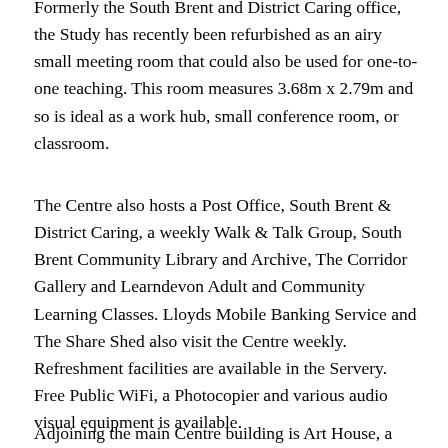Formerly the South Brent and District Caring office, the Study has recently been refurbished as an airy small meeting room that could also be used for one-to-one teaching. This room measures 3.68m x 2.79m and so is ideal as a work hub, small conference room, or classroom.
The Centre also hosts a Post Office, South Brent & District Caring, a weekly Walk & Talk Group, South Brent Community Library and Archive, The Corridor Gallery and Learndevon Adult and Community Learning Classes. Lloyds Mobile Banking Service and The Share Shed also visit the Centre weekly. Refreshment facilities are available in the Servery. Free Public WiFi, a Photocopier and various audio visual equipment is available.
Adjoining the main Centre building is Art House, a